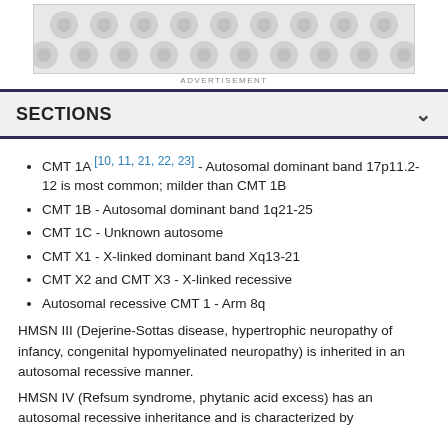[Figure (other): Advertisement banner with decorative pattern]
SECTIONS
CMT 1A [10, 11, 21, 22, 23] - Autosomal dominant band 17p11.2-12 is most common; milder than CMT 1B
CMT 1B - Autosomal dominant band 1q21-25
CMT 1C - Unknown autosome
CMT X1 - X-linked dominant band Xq13-21
CMT X2 and CMT X3 - X-linked recessive
Autosomal recessive CMT 1 - Arm 8q
HMSN III (Dejerine-Sottas disease, hypertrophic neuropathy of infancy, congenital hypomyelinated neuropathy) is inherited in an autosomal recessive manner.
HMSN IV (Refsum syndrome, phytanic acid excess) has an autosomal recessive inheritance and is characterized by